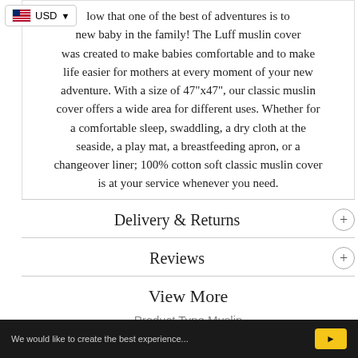…now that one of the best of adventures is to new baby in the family! The Luff muslin cover was created to make babies comfortable and to make life easier for mothers at every moment of your new adventure. With a size of 47"x47", our classic muslin cover offers a wide area for different uses. Whether for a comfortable sleep, swaddling, a dry cloth at the seaside, a play mat, a breastfeeding apron, or a changeover liner; 100% cotton soft classic muslin cover is at your service whenever you need.
Delivery & Returns
Reviews
View More
Product Type Muslin
We would love to create the best experience...